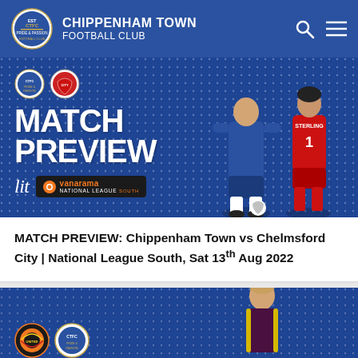CHIPPENHAM TOWN FOOTBALL CLUB
[Figure (screenshot): Match Preview banner image with two team badges (CTFC and Chelmsford City), large white MATCH PREVIEW text, Lit and Vanarama National League South sponsor logos, and players in blue and red kits on blue dotted background]
MATCH PREVIEW: Chippenham Town vs Chelmsford City | National League South, Sat 13th Aug 2022
[Figure (photo): Partial blue banner with Dorchester United and CTFC badges on the left and a player in a dark maroon/yellow kit on the right, partially cut off at bottom of page]